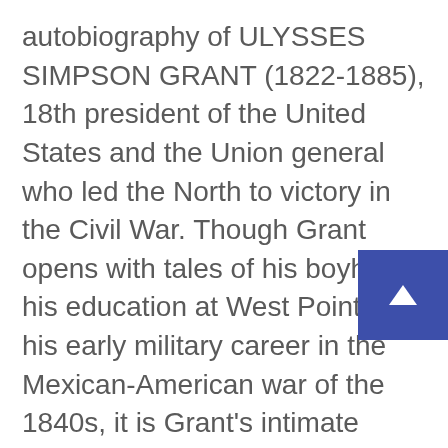autobiography of ULYSSES SIMPSON GRANT (1822-1885), 18th president of the United States and the Union general who led the North to victory in the Civil War. Though Grant opens with tales of his boyhood, his education at West Point, and his early military career in the Mexican-American war of the 1840s, it is Grant's intimate observations on the conduct of the Civil War, which make up the bulk of the work, that have made this required reading for history students, military strategists, and Civil War buffs alike. This unabridged edition features the material that was originally published in two volumes in 1885 and 1886, including maps, illustrations, and